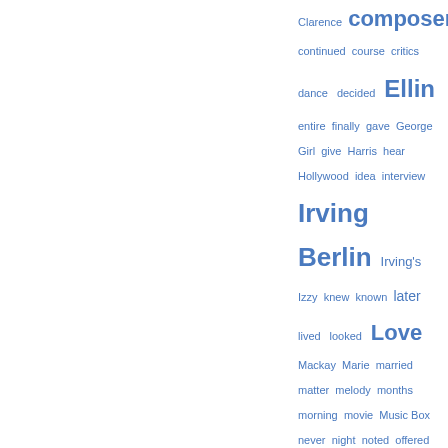[Figure (other): A tag cloud / word cloud showing terms related to Irving Berlin, displayed in varying font sizes indicating frequency. Terms include: Clarence, composer, continued, course, critics, dance, decided, Ellin, entire, finally, gave, George, Girl, give, Harris, hear, Hollywood, idea, interview, Irving Berlin, Irving's, Izzy, knew, known, later, lived, looked, Love, Mackay, Marie, married, matter, melody, months, morning, movie, Music Box, never, night, noted, offered, once, opened, performance, piano, play, popular, President, producer, publishing, ragtime, received, record, remained, returned, songs]